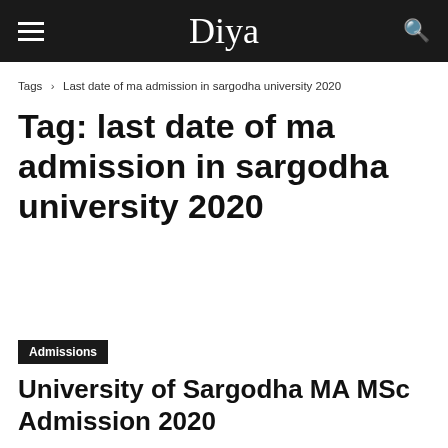Diya
Tags › Last date of ma admission in sargodha university 2020
Tag: last date of ma admission in sargodha university 2020
Admissions
University of Sargodha MA MSc Admission 2020